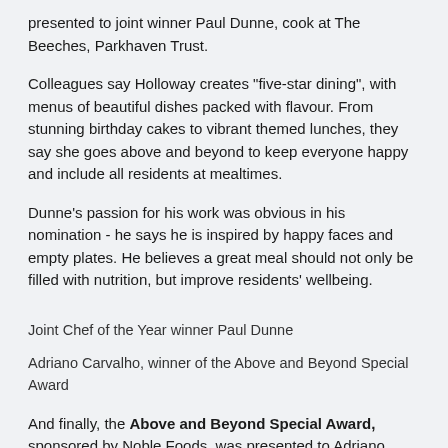presented to joint winner Paul Dunne, cook at The Beeches, Parkhaven Trust.
Colleagues say Holloway creates "five-star dining", with menus of beautiful dishes packed with flavour. From stunning birthday cakes to vibrant themed lunches, they say she goes above and beyond to keep everyone happy and include all residents at mealtimes.
Dunne's passion for his work was obvious in his nomination - he says he is inspired by happy faces and empty plates. He believes a great meal should not only be filled with nutrition, but improve residents' wellbeing.
Joint Chef of the Year winner Paul Dunne
Adriano Carvalho, winner of the Above and Beyond Special Award
And finally, the Above and Beyond Special Award, sponsored by Noble Foods, was presented to Adriano Carvalho, awarded during his time at Signature of Sonning. Colleagues described